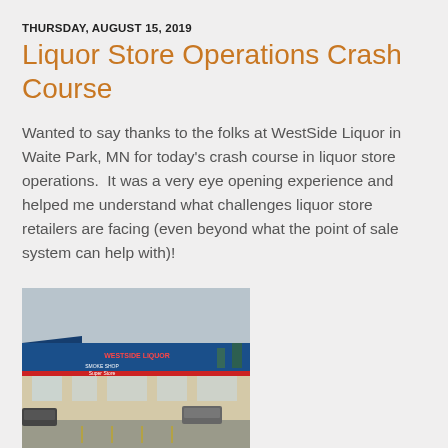THURSDAY, AUGUST 15, 2019
Liquor Store Operations Crash Course
Wanted to say thanks to the folks at WestSide Liquor in Waite Park, MN for today's crash course in liquor store operations.  It was a very eye opening experience and helped me understand what challenges liquor store retailers are facing (even beyond what the point of sale system can help with)!
[Figure (photo): Exterior photo of WestSide Liquor store building with blue facade and signage, parking lot in foreground, overcast sky]